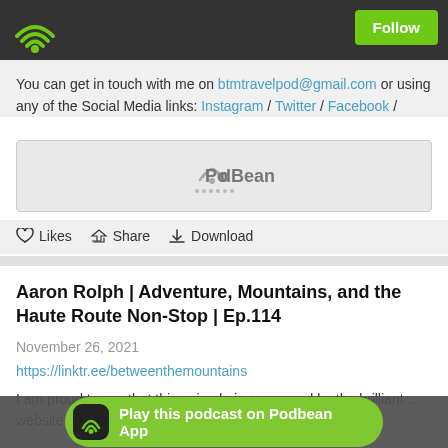Follow
You can get in touch with me on btmtravelpod@gmail.com or using any of the Social Media links: Instagram / Twitter / Facebook /
[Figure (logo): Podbean logo banner in a light gray box]
Likes  Share  Download
Aaron Rolph | Adventure, Mountains, and the Haute Route Non-Stop | Ep.114
November 26, 2021
https://linktr.ee/betweenthemountains
I am proud to say that this episode is sponsored by the brilliant ... website ... (for
Play this podcast on Podbean App